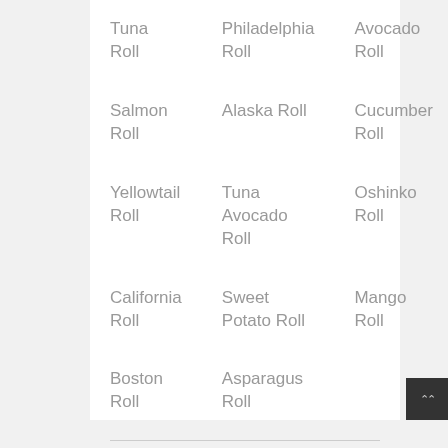| Tuna Roll | Philadelphia Roll | Avocado Roll |
| Salmon Roll | Alaska Roll | Cucumber Roll |
| Yellowtail Roll | Tuna Avocado Roll | Oshinko Roll |
| California Roll | Sweet Potato Roll | Mango Roll |
| Boston Roll | Asparagus Roll |  |
From Kitchen